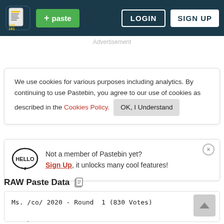Pastebin navigation bar with logo, + paste button, LOGIN and SIGN UP buttons
Advertisement
We use cookies for various purposes including analytics. By continuing to use Pastebin, you agree to our use of cookies as described in the Cookies Policy. OK, I Understand
Not a member of Pastebin yet? Sign Up, it unlocks many cool features!
RAW Paste Data
Ms. /co/ 2020 - Round  1 (830 Votes)

MatchUp 1